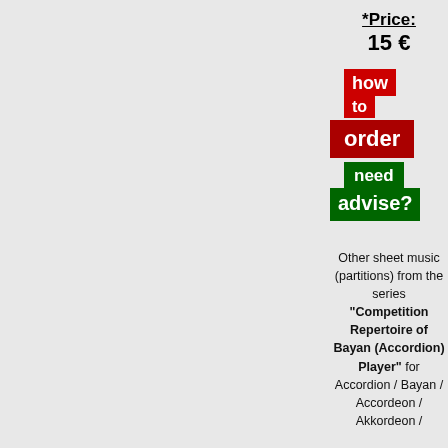*Price: 15 €
[Figure (other): Two red buttons labeled 'how to order' and one green button labeled 'need advise?']
Other sheet music (partitions) from the series "Competition Repertoire of Bayan (Accordion) Player" for Accordion / Bayan / Accordeon / Akkordeon /